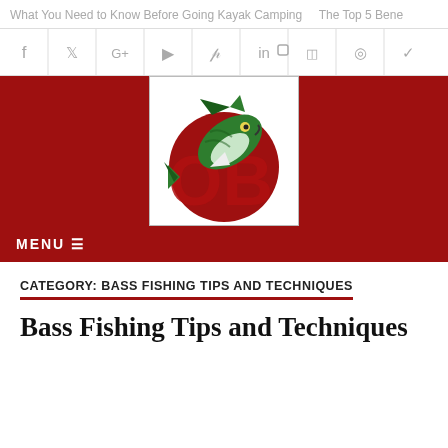What You Need to Know Before Going Kayak Camping    The Top 5 Bene
[Figure (infographic): Social media icons bar: Facebook (f), Twitter, Google+, YouTube, Pinterest, LinkedIn, a feed icon, Instagram, and a checkmark, separated by vertical lines]
[Figure (logo): Website logo on a dark red background: a green bass fish leaping over large red letters 'OB', white background logo box]
MENU ≡
CATEGORY: BASS FISHING TIPS AND TECHNIQUES
Bass Fishing Tips and Techniques